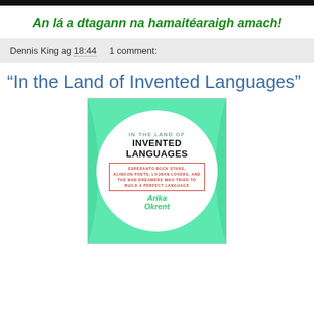[Figure (other): Top decorative image bar, dark/black strip]
An lá a dtagann na hamaitéaraigh amach!
Dennis King ag 18:44    1 comment:
"In the Land of Invented Languages"
[Figure (photo): Book cover of 'In the Land of Invented Languages' by Arika Okrent. Green/teal background with a white circle in the center. Text: IN THE LAND OF INVENTED LANGUAGES. Subtitle in red bracket box: ESPERANTO ROCK STARS, KLINGON POETS, LOJBAN LOVERS, AND THE MAD DREAMERS WHO TRIED TO BUILD A PERFECT LANGUAGE. Author: Arika Okrent in green italic.]